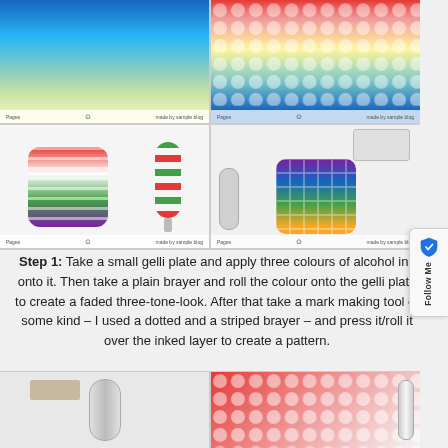[Figure (photo): 2x2 grid of four photos showing gelli plate printing steps: top-left shows blue/teal/green gradient gelli plate; top-right shows red/rainbow gradient plate with dot pattern; bottom-left shows striped rainbow plate and a striped brayer roller; bottom-right shows purple/rainbow plate with roller and ink bottle]
Step 1: Take a small gelli plate and apply three colours of alcohol ink onto it. Then take a plain brayer and roll the colour onto the gelli plate to create a faded three-tone-look. After that take a mark making tool of some kind – I used a dotted and a striped brayer – and press it/roll it over the inked layer to create a pattern.
[Figure (photo): Two partial photos at bottom: left shows roller/brayer tool on white surface; right shows red/dotted patterned object with silver roller]